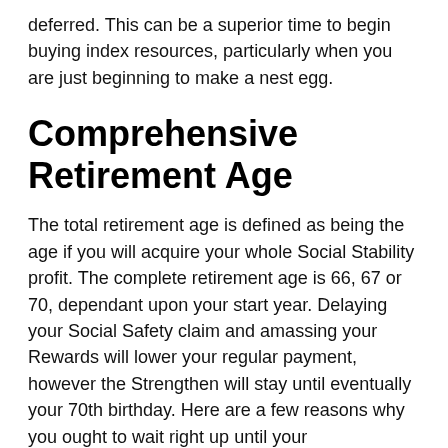deferred. This can be a superior time to begin buying index resources, particularly when you are just beginning to make a nest egg.
Comprehensive Retirement Age
The total retirement age is defined as being the age if you will acquire your whole Social Stability profit. The complete retirement age is 66, 67 or 70, dependant upon your start year. Delaying your Social Safety claim and amassing your Rewards will lower your regular payment, however the Strengthen will stay until eventually your 70th birthday. Here are a few reasons why you ought to wait right up until your comprehensive retirement age. Read more to discover extra. (Annual pre retirement profits)
Generally speaking, the complete retirement age relates to all the retirement benefits you'll get from working, including